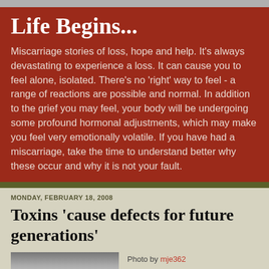Life Begins...
Miscarriage stories of loss, hope and help. It's always devastating to experience a loss. It can cause you to feel alone, isolated. There's no 'right' way to feel - a range of reactions are possible and normal. In addition to the grief you may feel, your body will be undergoing some profound hormonal adjustments, which may make you feel very emotionally volatile. If you have had a miscarriage, take the time to understand better why these occur and why it is not your fault.
MONDAY, FEBRUARY 18, 2008
Toxins 'cause defects for future generations'
[Figure (photo): A photo of a person, partially visible, used as blog post image]
Photo by mje362